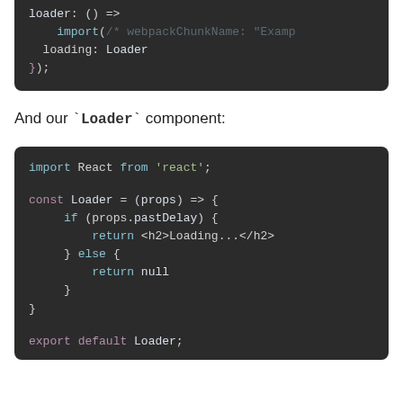[Figure (screenshot): Top code block (cropped): shows loader: () =>, import(/* webpackChunkName: 'Examp... */, loading: Loader, });]
And our `Loader` component:
[Figure (screenshot): Code block showing React Loader component: import React from 'react'; const Loader = (props) => { if (props.pastDelay) { return <h2>Loading...</h2> } else { return null } } export default Loader;]